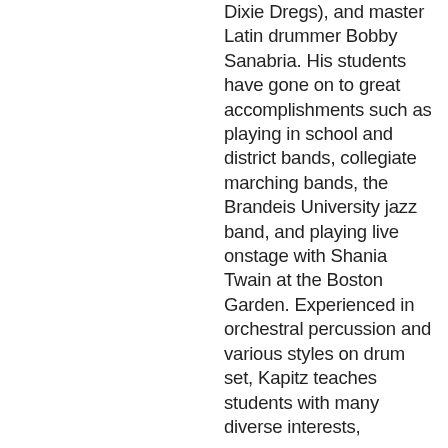Dixie Dregs), and master Latin drummer Bobby Sanabria.  His students have gone on to great accomplishments such as playing in school and district bands, collegiate marching bands, the Brandeis University jazz band, and playing live onstage with Shania Twain at the Boston Garden.  Experienced in orchestral percussion and various styles on drum set, Kapitz teaches students with many diverse interests,